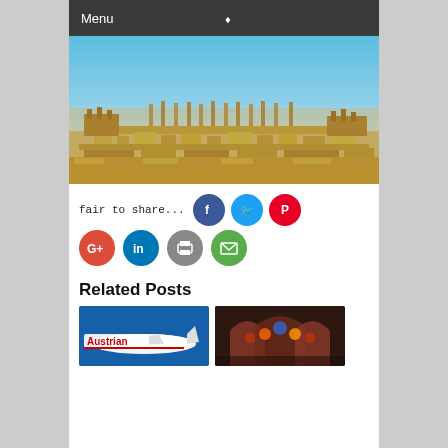Menu
[Figure (photo): Aerial view of ancient ruins (Persepolis) in a desert landscape under a clear blue sky]
fair to share...
[Figure (infographic): Social sharing buttons: Facebook (blue circle), Twitter (light blue circle), Pinterest (red circle), Google+ (red circle), LinkedIn (blue circle), Print (grey circle), Email (green circle)]
Related Posts
[Figure (photo): Austrian Airlines airplane thumbnail]
[Figure (photo): Mosque interior with colorful stained glass arches thumbnail]